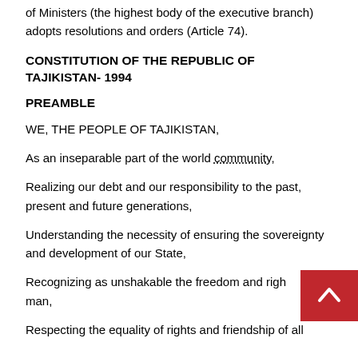of Ministers (the highest body of the executive branch) adopts resolutions and orders (Article 74).
CONSTITUTION OF THE REPUBLIC OF TAJIKISTAN- 1994
PREAMBLE
WE, THE PEOPLE OF TAJIKISTAN,
As an inseparable part of the world community,
Realizing our debt and our responsibility to the past, present and future generations,
Understanding the necessity of ensuring the sovereignty and development of our State,
Recognizing as unshakable the freedom and rights of man,
Respecting the equality of rights and friendship of all